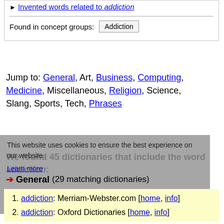► Invented words related to addiction
Found in concept groups: Addiction
Jump to: General, Art, Business, Computing, Medicine, Miscellaneous, Religion, Science, Slang, Sports, Tech, Phrases
We found 45 dictionaries that include the word addiction:
This website uses cookies to ensure the best experience on our website.
Learn more
➔ General (29 matching dictionaries)
1. addiction: Merriam-Webster.com [home, info]
2. addiction: Oxford Dictionaries [home, info]